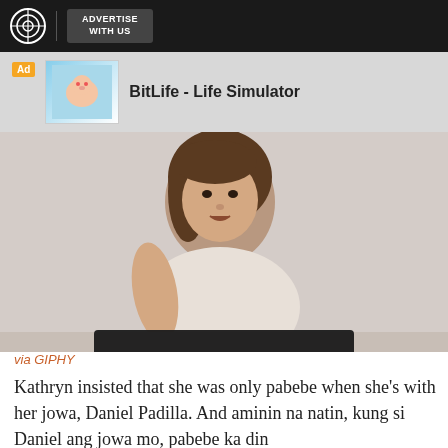ABS-CBN | ADVERTISE WITH US
[Figure (screenshot): Ad banner for BitLife - Life Simulator app with cartoon character image]
[Figure (photo): Photo of a woman (Kathryn) speaking, with a cookie consent overlay dialog. Dialog text: Welcome, Kapamilya! We use cookies to improve your browsing experience. Continuing to use this site means you agree to our use of cookies. Tell me more! | I AGREE!]
via GIPHY
Kathryn insisted that she was only pabebe when she's with her jowa, Daniel Padilla. And aminin na natin, kung si Daniel ang jowa mo, pabebe ka din